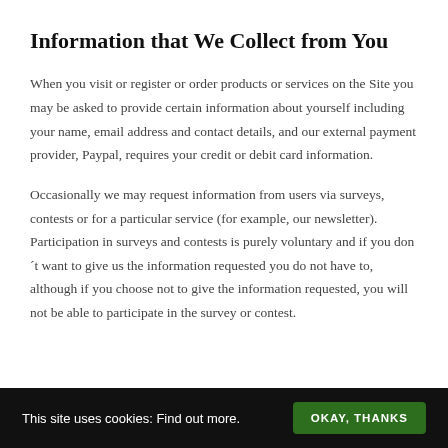Information that We Collect from You
When you visit or register or order products or services on the Site you may be asked to provide certain information about yourself including your name, email address and contact details, and our external payment provider, Paypal, requires your credit or debit card information.
Occasionally we may request information from users via surveys, contests or for a particular service (for example, our newsletter). Participation in surveys and contests is purely voluntary and if you don´t want to give us the information requested you do not have to, although if you choose not to give the information requested, you will not be able to participate in the survey or contest.
This site uses cookies: Find out more.  OKAY, THANKS